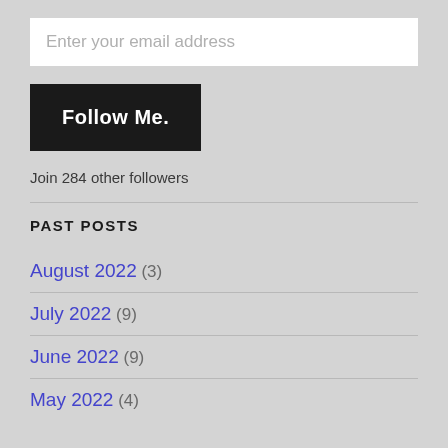Enter your email address
Follow Me.
Join 284 other followers
PAST POSTS
August 2022 (3)
July 2022 (9)
June 2022 (9)
May 2022 (4)